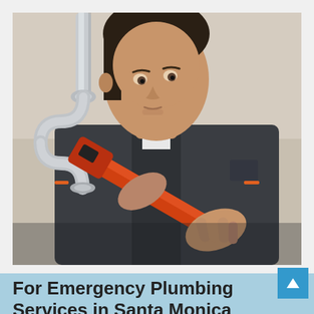[Figure (photo): A male plumber in a dark grey jacket with orange accents, using an orange pipe wrench to work on chrome S-trap plumbing pipes. Close-up shot, focused on the work.]
For Emergency Plumbing Services in Santa Monica